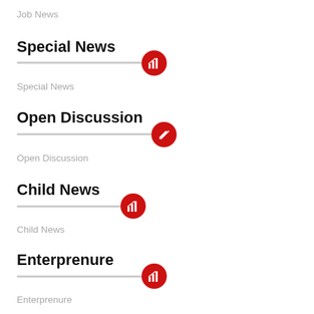Job News
Special News
Special News
Open Discussion
Open Discussion
Child News
Child News
Enterprenure
Enterprenure
Crime